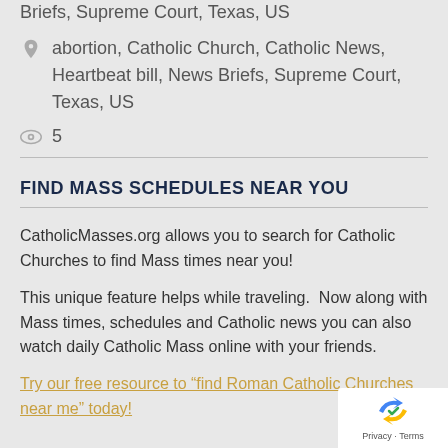Briefs, Supreme Court, Texas, US
abortion, Catholic Church, Catholic News, Heartbeat bill, News Briefs, Supreme Court, Texas, US
5
FIND MASS SCHEDULES NEAR YOU
CatholicMasses.org allows you to search for Catholic Churches to find Mass times near you!
This unique feature helps while traveling.  Now along with Mass times, schedules and Catholic news you can also watch daily Catholic Mass online with your friends.
Try our free resource to “find Roman Catholic Churches near me” today!